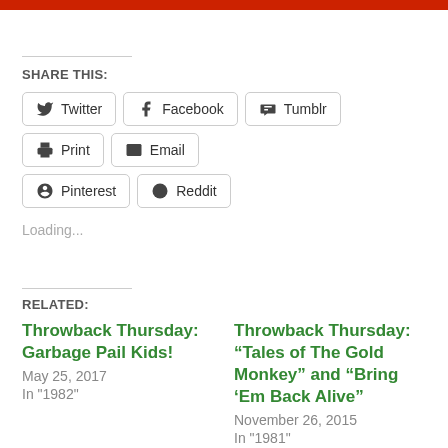SHARE THIS:
Twitter
Facebook
Tumblr
Print
Email
Pinterest
Reddit
Loading...
RELATED:
Throwback Thursday: Garbage Pail Kids!
May 25, 2017
In "1982"
Throwback Thursday: “Tales of The Gold Monkey” and “Bring ’Em Back Alive”
November 26, 2015
In "1981"